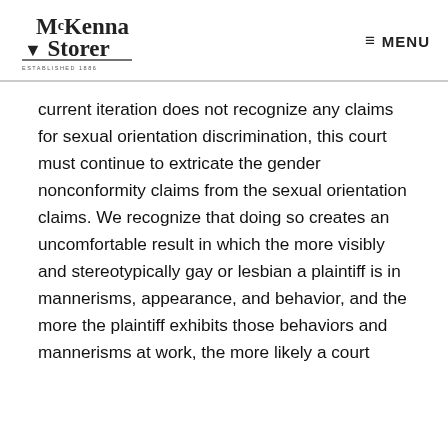McKenna Storer — MENU
current iteration does not recognize any claims for sexual orientation discrimination, this court must continue to extricate the gender nonconformity claims from the sexual orientation claims. We recognize that doing so creates an uncomfortable result in which the more visibly and stereotypically gay or lesbian a plaintiff is in mannerisms, appearance, and behavior, and the more the plaintiff exhibits those behaviors and mannerisms at work, the more likely a court